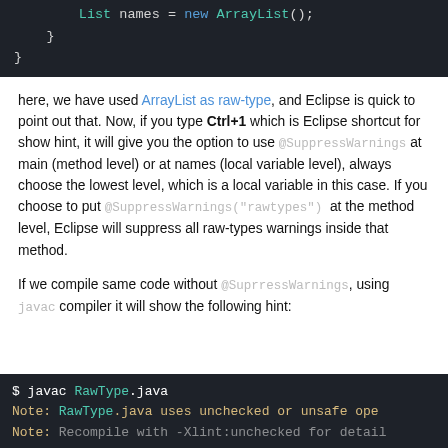[Figure (screenshot): Dark-themed code editor showing Java code: '    List names = new ArrayList();' on first line, then '    }' and '}' closing braces.]
here, we have used ArrayList as raw-type, and Eclipse is quick to point out that. Now, if you type Ctrl+1 which is Eclipse shortcut for show hint, it will give you the option to use @SuppressWarnings at main (method level) or at names (local variable level), always choose the lowest level, which is a local variable in this case. If you choose to put @SuppressWarnings("rawtypes") at the method level, Eclipse will suppress all raw-types warnings inside that method.
If we compile same code without @SuprressWarnings, using javac compiler it will show the following hint:
[Figure (screenshot): Dark-themed terminal showing: '$ javac RawType.java' then 'Note: RawType.java uses unchecked or unsafe ope...' and another Note line partially visible.]